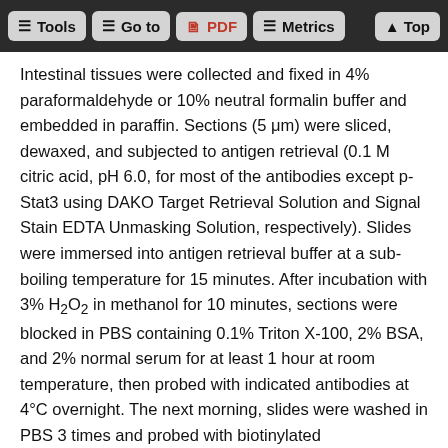Tools | Go to | PDF | Metrics | Top
Intestinal tissues were collected and fixed in 4% paraformaldehyde or 10% neutral formalin buffer and embedded in paraffin. Sections (5 μm) were sliced, dewaxed, and subjected to antigen retrieval (0.1 M citric acid, pH 6.0, for most of the antibodies except p-Stat3 using DAKO Target Retrieval Solution and Signal Stain EDTA Unmasking Solution, respectively). Slides were immersed into antigen retrieval buffer at a sub-boiling temperature for 15 minutes. After incubation with 3% H₂O₂ in methanol for 10 minutes, sections were blocked in PBS containing 0.1% Triton X-100, 2% BSA, and 2% normal serum for at least 1 hour at room temperature, then probed with indicated antibodies at 4°C overnight. The next morning, slides were washed in PBS 3 times and probed with biotinylated